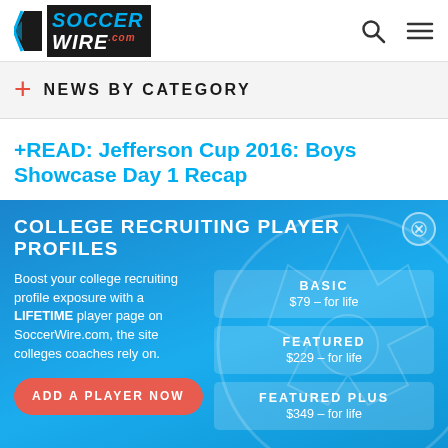[Figure (logo): SoccerWire.com logo with soccer ball swoosh graphic, blue and white text on dark background]
+ NEWS BY CATEGORY
+READ: Jefferson Cup 2016: Boys Showcase Day 1 Recap
The core of the team comes from a unique program out
COLLEGE RECRUITING PLAYER PROFILES
Boost your college recruiting profile exposure with a LIFETIME player page on SoccerWire.com, the site colleges coaches rely on.
BASIC
$79 – for life
FEATURED
$229 – for life
FEATURED PLUS
$349 – for life
ADD A PLAYER NOW